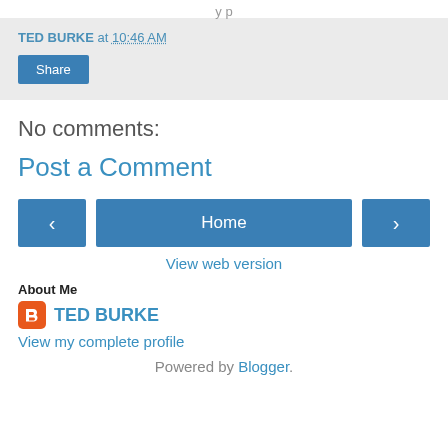TED BURKE at 10:46 AM
Share
No comments:
Post a Comment
[Figure (other): Navigation buttons: left arrow, Home, right arrow]
View web version
About Me
TED BURKE
View my complete profile
Powered by Blogger.